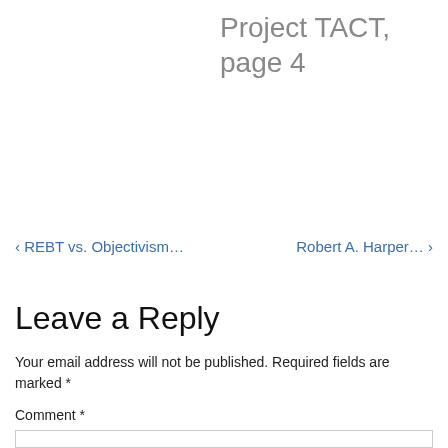Project TACT, page 4
◂ REBT vs. Objectivism…
Robert A. Harper… ▸
Leave a Reply
Your email address will not be published. Required fields are marked *
Comment *